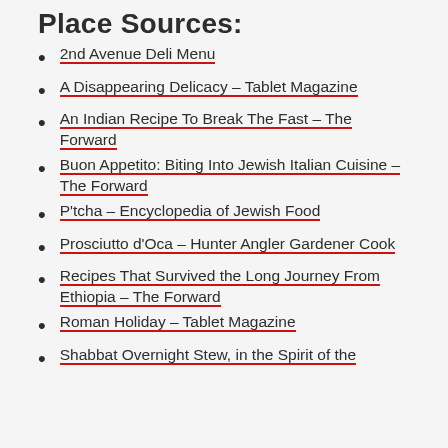Place Sources:
2nd Avenue Deli Menu
A Disappearing Delicacy – Tablet Magazine
An Indian Recipe To Break The Fast – The Forward
Buon Appetito: Biting Into Jewish Italian Cuisine – The Forward
P'tcha – Encyclopedia of Jewish Food
Prosciutto d'Oca – Hunter Angler Gardener Cook
Recipes That Survived the Long Journey From Ethiopia – The Forward
Roman Holiday – Tablet Magazine
Shabbat Overnight Stew, in the Spirit of the [local Tradition – ...] (partial)